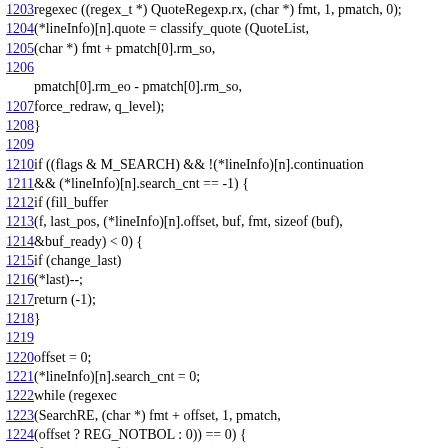Code listing lines 1203-1226, showing C source code with line numbers hyperlinked. Content includes regexec calls, classify_quote, fill_buffer, change_last, return, offset, search_cnt, while regexec, REG_NOTBOL, mem_realloc logic.